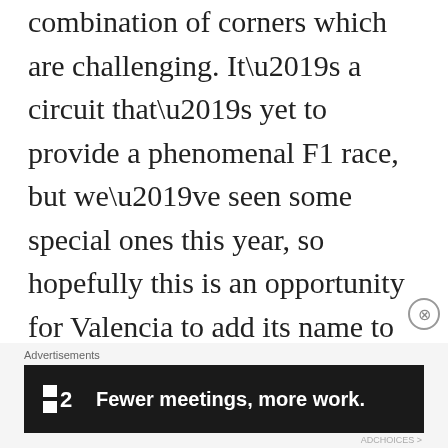combination of corners which are challenging. It’s a circuit that’s yet to provide a phenomenal F1 race, but we’ve seen some special ones this year, so hopefully this is an opportunity for Valencia to add its name to the list. There’s no reason why the car shouldn’t perform well there, but as we’ve seen in the past f...
Advertisements
[Figure (other): Advertisement banner for F2 (Formula 2): dark background with F2 logo and text 'Fewer meetings, more work.']